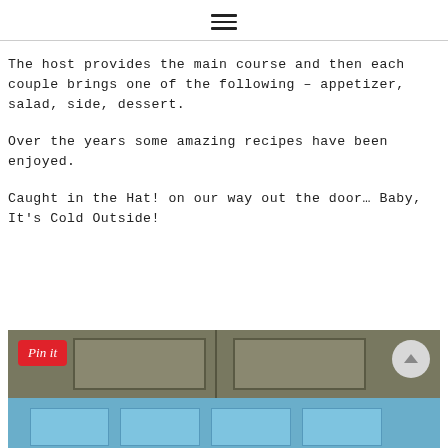☰
The host provides the main course and then each couple brings one of the following – appetizer, salad, side, dessert.
Over the years some amazing recipes have been enjoyed.
Caught in the Hat! on our way out the door… Baby, It's Cold Outside!
[Figure (photo): Photo of a door exterior with blue windows/panels at the bottom, with a Pinterest 'Pin it' button overlay in the top left and a scroll-to-top button in the top right.]